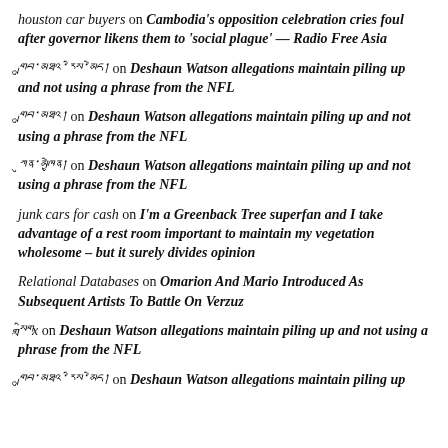houston car buyers on Cambodia's opposition celebration cries foul after governor likens them to 'social plague' — Radio Free Asia
གྲུབ་མཐའ་རིས་མེད། on Deshaun Watson allegations maintain piling up and not using a phrase from the NFL
གྲུབ་མཐའ། on Deshaun Watson allegations maintain piling up and not using a phrase from the NFL
ཀུན་མཁྱེན། on Deshaun Watson allegations maintain piling up and not using a phrase from the NFL
junk cars for cash on I'm a Greenback Tree superfan and I take advantage of a rest room important to maintain my vegetation wholesome – but it surely divides opinion
Relational Databases on Omarion And Mario Introduced As Subsequent Artists To Battle On Verzuz
སྒྲིགx on Deshaun Watson allegations maintain piling up and not using a phrase from the NFL
གྲུབ་མཐའ་རིས་མེད། on Deshaun Watson allegations maintain piling up